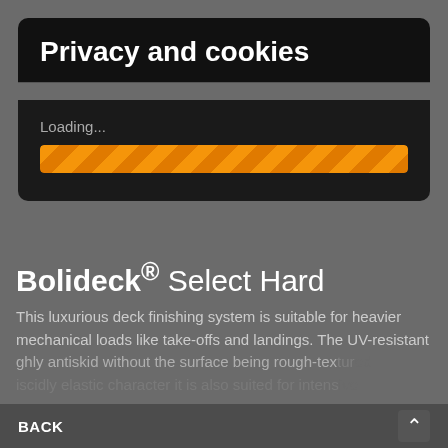Privacy and cookies
Loading...
[Figure (other): Orange striped progress bar indicating loading state]
Bolideck® Select Hard
This luxurious deck finishing system is suitable for heavier mechanical loads like take-offs and landings. The UV-resistant highly antiskid without the surface being rough-textured viscidly elastic character it is also suited for intensive
BACK